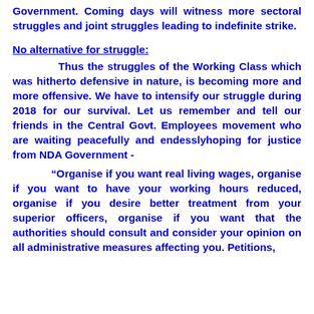Government. Coming days will witness more sectoral struggles and joint struggles leading to indefinite strike.
No alternative for struggle:
Thus the struggles of the Working Class which was hitherto defensive in nature, is becoming more and more offensive. We have to intensify our struggle during 2018 for our survival. Let us remember and tell our friends in the Central Govt. Employees movement who are waiting peacefully and endesslyhoping for justice from NDA Government -
“Organise if you want real living wages, organise if you want to have your working hours reduced, organise if you desire better treatment from your superior officers, organise if you want that the authorities should consult and consider your opinion on all administrative measures affecting you. Petitions,